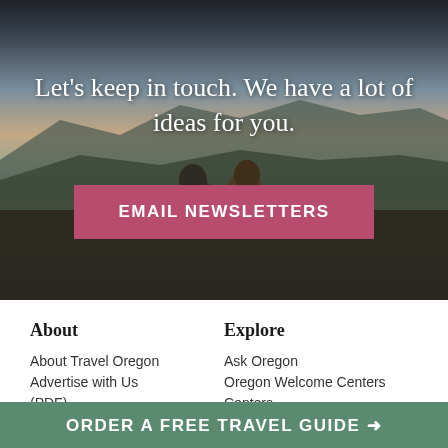[Figure (photo): Two people sitting outdoors with a scenic mountain landscape at dusk in the background]
Let's keep in touch. We have a lot of ideas for you.
EMAIL NEWSLETTERS
About
Explore
About Travel Oregon
Ask Oregon
Advertise with Us
Oregon Welcome Centers
(PDF)
Centers
ORDER A FREE TRAVEL GUIDE →